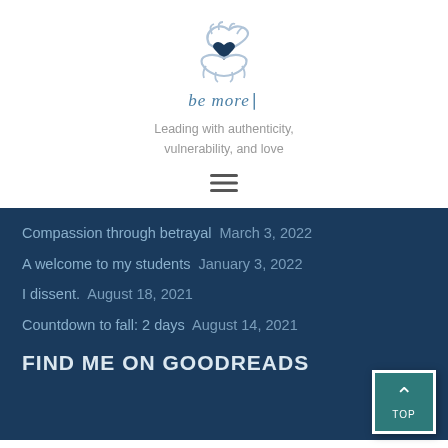[Figure (logo): Two stylized hands cradling a dark blue heart, forming a logo for 'be more']
be more
Leading with authenticity, vulnerability, and love
[Figure (other): Hamburger menu icon (three horizontal lines)]
Compassion through betrayal  March 3, 2022
A welcome to my students  January 3, 2022
I dissent.  August 18, 2021
Countdown to fall: 2 days  August 14, 2021
FIND ME ON GOODREADS